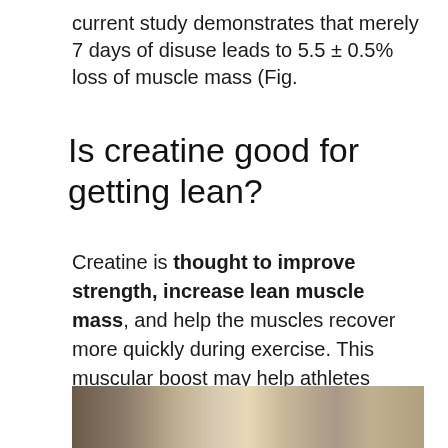current study demonstrates that merely 7 days of disuse leads to 5.5 ± 0.5% loss of muscle mass (Fig.
Is creatine good for getting lean?
Creatine is thought to improve strength, increase lean muscle mass, and help the muscles recover more quickly during exercise. This muscular boost may help athletes achieve bursts of speed and energy, especially during short bouts of high-intensity activities such as weight lifting or sprinting.
[Figure (photo): Partial photo of a person, bottom portion visible at foot of page]